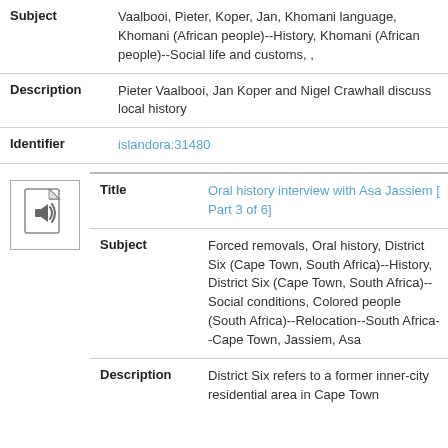| Field | Value |
| --- | --- |
| Subject | Vaalbooi, Pieter, Koper, Jan, Khomani language, Khomani (African people)--History, Khomani (African people)--Social life and customs, , |
| Description | Pieter Vaalbooi, Jan Koper and Nigel Crawhall discuss local history |
| Identifier | islandora:31480 |
[Figure (illustration): Audio/document icon with speaker symbol inside a page icon]
| Field | Value |
| --- | --- |
| Title | Oral history interview with Asa Jassiem [ Part 3 of 6] |
| Subject | Forced removals, Oral history, District Six (Cape Town, South Africa)--History, District Six (Cape Town, South Africa)--Social conditions, Colored people (South Africa)--Relocation--South Africa--Cape Town, Jassiem, Asa |
| Description | District Six refers to a former inner-city residential area in Cape Town |